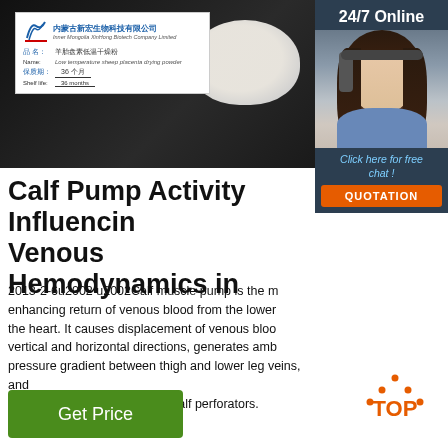[Figure (photo): Product photo showing a label from Inner Mongolia XinHong Biotech Company Limited for low temperature sheep placenta drying powder with shelf life of 36 months, alongside a bowl of white powder on dark background]
[Figure (photo): 24/7 Online chat support panel with female agent wearing headset, 'Click here for free chat!' text, and orange QUOTATION button]
Calf Pump Activity Influencing Venous Hemodynamics in
2013-2-6u2002·u2002Calf muscle pump is the m... enhancing return of venous blood from the lower... the heart. It causes displacement of venous bloo... vertical and horizontal directions, generates amb... pressure gradient between thigh and lower leg veins, and bidirectional streaming within calf perforators.
[Figure (other): Orange dotted triangle TOP navigation button]